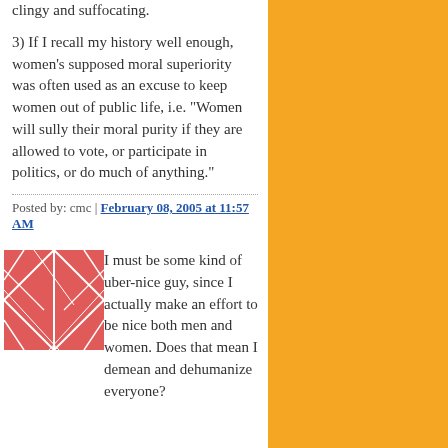clingy and suffocating.

3) If I recall my history well enough, women's supposed moral superiority was often used as an excuse to keep women out of public life, i.e. "Women will sully their moral purity if they are allowed to vote, or participate in politics, or do much of anything."
Posted by: cmc | February 08, 2005 at 11:57 AM
[Figure (illustration): Red and white abstract pattern avatar image]
I must be some kind of uber-nice guy, since I actually make an effort to be nice both men and women. Does that mean I demean and dehumanize everyone?